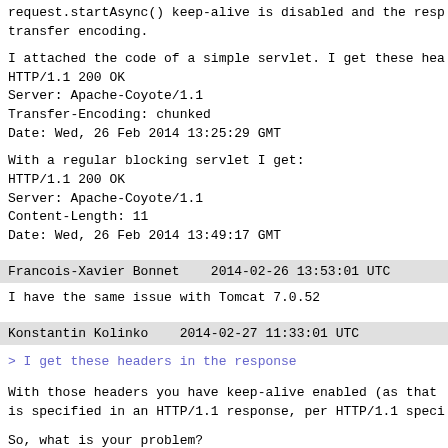request.startAsync() keep-alive is disabled and the resp transfer encoding.
I attached the code of a simple servlet. I get these hea HTTP/1.1 200 OK
Server: Apache-Coyote/1.1
Transfer-Encoding: chunked
Date: Wed, 26 Feb 2014 13:25:29 GMT
With a regular blocking servlet I get:
HTTP/1.1 200 OK
Server: Apache-Coyote/1.1
Content-Length: 11
Date: Wed, 26 Feb 2014 13:49:17 GMT
Francois-Xavier Bonnet    2014-02-26 13:53:01 UTC
I have the same issue with Tomcat 7.0.52
Konstantin Kolinko    2014-02-27 11:33:01 UTC
> I get these headers in the response
With those headers you have keep-alive enabled (as that is specified in an HTTP/1.1 response, per HTTP/1.1 speci
So, what is your problem?